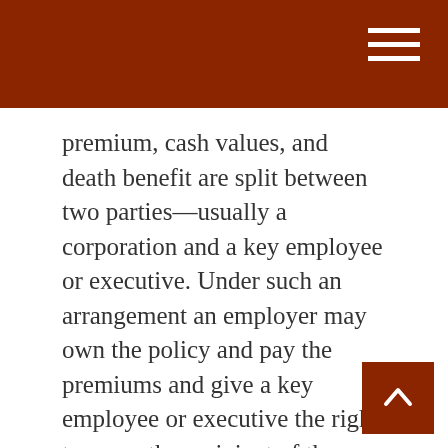premium, cash values, and death benefit are split between two parties—usually a corporation and a key employee or executive. Under such an arrangement an employer may own the policy and pay the premiums and give a key employee or executive the right to name the recipient of the death benefit. Several factors will affect the cost and availability of life insurance, including age, health, and the type and amount of insurance purchased. Life insurance policies have expenses, including mortality and other charges. If a policy is surrendered prematurely, the policyholder also may pay surrender charges and have income tax implications. You should consider determining whether you are insurable before implementing a strategy involving life insurance. Any guarantees associated with a policy are dependent on